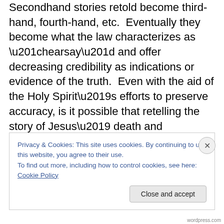Secondhand stories retold become third-hand, fourth-hand, etc.  Eventually they become what the law characterizes as “hearsay” and offer decreasing credibility as indications or evidence of the truth.  Even with the aid of the Holy Spirit’s efforts to preserve accuracy, is it possible that retelling the story of Jesus’ death and resurrection century after century through multiple layers of changing cultures has woven significant inaccuracy and incompleteness into the story we now hear or read?

I ask these questions because I wonder how Jesus would tell his own story.  Would he be more careful to tell a story
Privacy & Cookies: This site uses cookies. By continuing to use this website, you agree to their use.
To find out more, including how to control cookies, see here: Cookie Policy